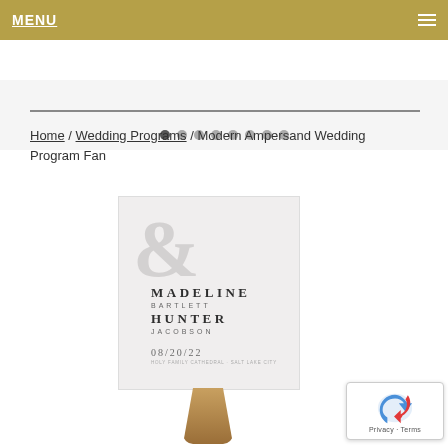MENU
[Figure (other): Carousel pagination dots, 8 dots with the first one active]
Home / Wedding Programs / Modern Ampersand Wedding Program Fan
[Figure (photo): Modern Ampersand Wedding Program Fan showing a fan-shaped wedding program with text MADELINE BARTLETT & HUNTER JACOBSON 08/20/22 on a light gray/white card with a wooden handle]